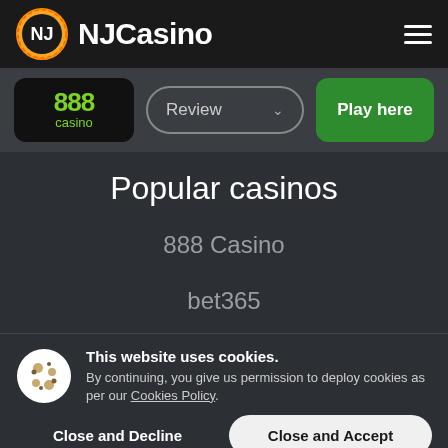NJCasino
[Figure (logo): NJCasino logo with circular emblem and text]
[Figure (logo): 888 casino logo in green on black background]
Review
Play here
Popular casinos
888 Casino
bet365
BetMGM
This website uses cookies. By continuing, you give us permission to deploy cookies as per our Cookies Policy.
Close and Decline
Close and Accept